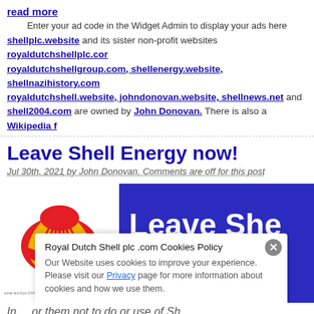read more
Enter your ad code in the Widget Admin to display your ads here
shellplc.website and its sister non-profit websites royaldutchshellplc.com, royaldutchshellgroup.com, shellenergy.website, shellnazihistory.com, royaldutchshell.website, johndonovan.website, shellnews.net and shell2004.com are owned by John Donovan. There is also a Wikipedia f
Leave Shell Energy now!
Jul 30th, 2021 by John Donovan. Comments are off for this post
[Figure (screenshot): Banner image with Shell logo on white background on the left and text 'Leave She Energy no' on blue/purple background on the right]
Royal Dutch Shell plc .com Cookies Policy
Our Website uses cookies to improve your experience. Please visit our Privacy page for more information about cookies and how we use them.
In ... of Shell Energy published 30 July 2021